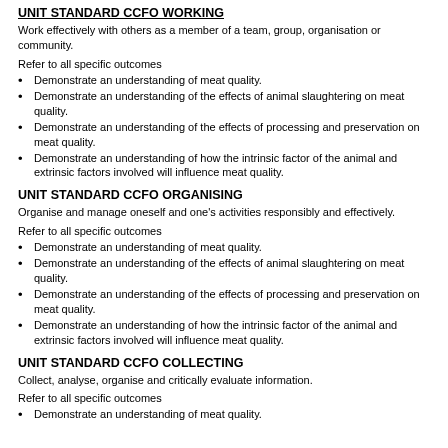UNIT STANDARD CCFO WORKING
Work effectively with others as a member of a team, group, organisation or community.
Refer to all specific outcomes
Demonstrate an understanding of meat quality.
Demonstrate an understanding of the effects of animal slaughtering on meat quality.
Demonstrate an understanding of the effects of processing and preservation on meat quality.
Demonstrate an understanding of how the intrinsic factor of the animal and extrinsic factors involved will influence meat quality.
UNIT STANDARD CCFO ORGANISING
Organise and manage oneself and one's activities responsibly and effectively.
Refer to all specific outcomes
Demonstrate an understanding of meat quality.
Demonstrate an understanding of the effects of animal slaughtering on meat quality.
Demonstrate an understanding of the effects of processing and preservation on meat quality.
Demonstrate an understanding of how the intrinsic factor of the animal and extrinsic factors involved will influence meat quality.
UNIT STANDARD CCFO COLLECTING
Collect, analyse, organise and critically evaluate information.
Refer to all specific outcomes
Demonstrate an understanding of meat quality.